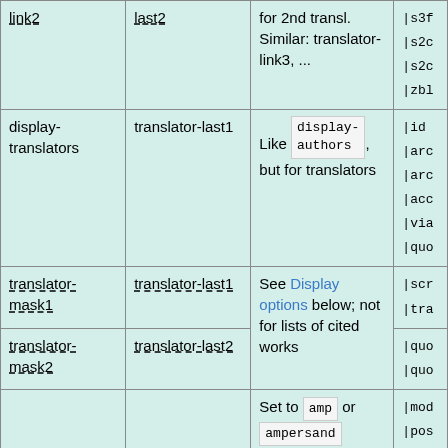| Parameter | Alias | Description | Shortcuts |
| --- | --- | --- | --- |
| link2 | last2 | for 2nd transl. Similar: translator-link3, ... | |s3f |s2c |s2c |zbl |
| display-translators | translator-last1 | Like display-authors, but for translators | |id |arc |arc |acc |via |quo |
| translator-mask1 | translator-last1 | See Display options below; not for lists of cited works | |scr |tra |
| translator-mask2 | translator-last2 | See Display options below; not for lists of cited works | |quo |quo |
| (bottom row) |  | Set to amp or ampersand | |mod |pos |ref |